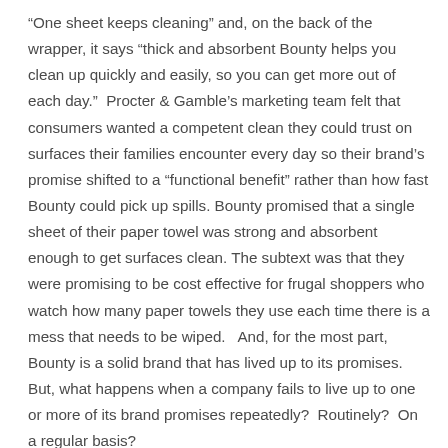“One sheet keeps cleaning” and, on the back of the wrapper, it says “thick and absorbent Bounty helps you clean up quickly and easily, so you can get more out of each day.”  Procter & Gamble’s marketing team felt that consumers wanted a competent clean they could trust on surfaces their families encounter every day so their brand’s promise shifted to a “functional benefit” rather than how fast Bounty could pick up spills. Bounty promised that a single sheet of their paper towel was strong and absorbent enough to get surfaces clean. The subtext was that they were promising to be cost effective for frugal shoppers who watch how many paper towels they use each time there is a mess that needs to be wiped.   And, for the most part, Bounty is a solid brand that has lived up to its promises.  But, what happens when a company fails to live up to one or more of its brand promises repeatedly?  Routinely?  On a regular basis?